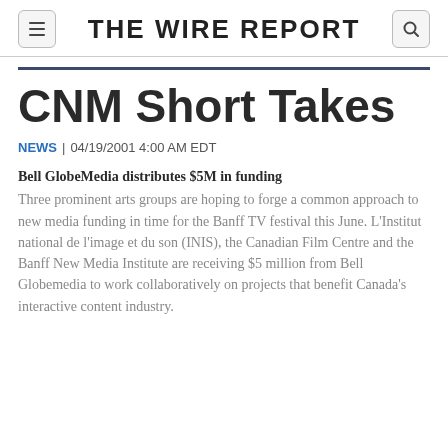THE WIRE REPORT
CNM Short Takes
NEWS | 04/19/2001 4:00 AM EDT
Bell GlobeMedia distributes $5M in funding
Three prominent arts groups are hoping to forge a common approach to new media funding in time for the Banff TV festival this June. L'Institut national de l'image et du son (INIS), the Canadian Film Centre and the Banff New Media Institute are receiving $5 million from Bell Globemedia to work collaboratively on projects that benefit Canada's interactive content industry.